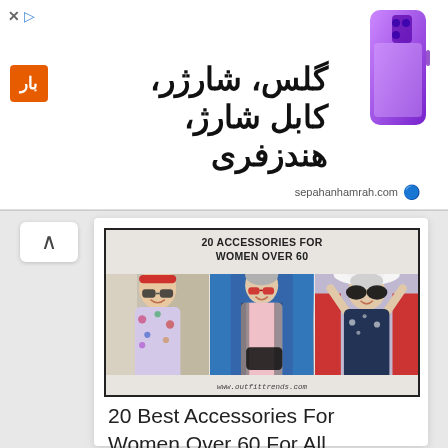[Figure (screenshot): Mobile advertisement banner for sepahanhamrah.com showing Persian text 'گلس، شارژر، کابل شارژ، هندزفری' with an orange badge, and a purple smartphone on the right. Close and play icons at top left.]
[Figure (photo): Article thumbnail image showing three women over 60 wearing accessories and sunglasses, with title '20 ACCESSORIES FOR WOMEN OVER 60' and website www.outfittrends.com]
20 Best Accessories For Women Over 60 For All Seasons